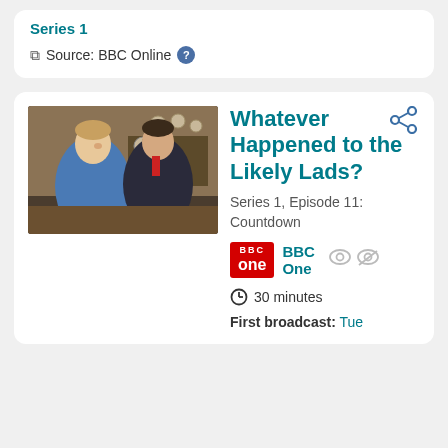Series 1
Source: BBC Online ?
Whatever Happened to the Likely Lads?
Series 1, Episode 11: Countdown
BBC One
30 minutes
First broadcast: Tue